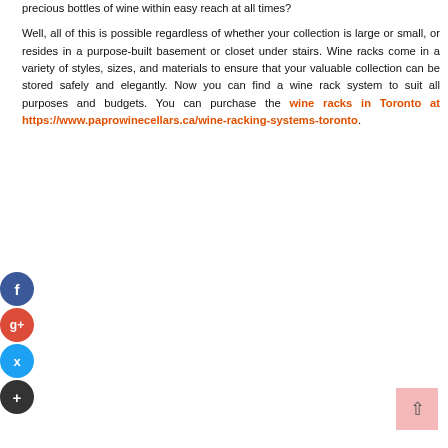precious bottles of wine within easy reach at all times?

Well, all of this is possible regardless of whether your collection is large or small, or resides in a purpose-built basement or closet under stairs. Wine racks come in a variety of styles, sizes, and materials to ensure that your valuable collection can be stored safely and elegantly. Now you can find a wine rack system to suit all purposes and budgets. You can purchase the wine racks in Toronto at https://www.paprowinecellars.ca/wine-racking-systems-toronto.
[Figure (other): Social media share buttons: Facebook (blue circle with f), Google+ (red circle with g+), Twitter (light blue circle with bird icon), Add/Pinterest (dark circle with + icon)]
[Figure (other): Scroll-to-top button: pink/light-red square with up-arrow chevron]